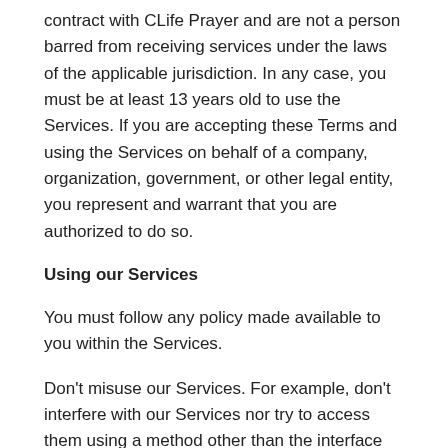contract with CLife Prayer and are not a person barred from receiving services under the laws of the applicable jurisdiction. In any case, you must be at least 13 years old to use the Services. If you are accepting these Terms and using the Services on behalf of a company, organization, government, or other legal entity, you represent and warrant that you are authorized to do so.
Using our Services
You must follow any policy made available to you within the Services.
Don't misuse our Services. For example, don't interfere with our Services nor try to access them using a method other than the interface and the instructions that we provide. You may use our Services only as permitted by law, including